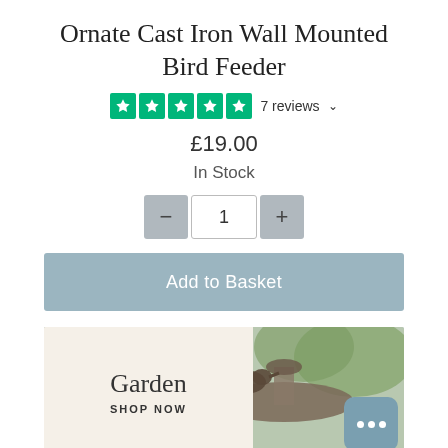Ornate Cast Iron Wall Mounted Bird Feeder
★★★★★ 7 reviews ∨
£19.00
In Stock
[Figure (screenshot): Quantity selector with minus button, quantity input showing 1, and plus button]
Add to Basket
[Figure (photo): Garden scene with cast iron bird feeder/birdbath, purple flowers in background. Overlay text: Garden / SHOP NOW. Chat widget in bottom right corner.]